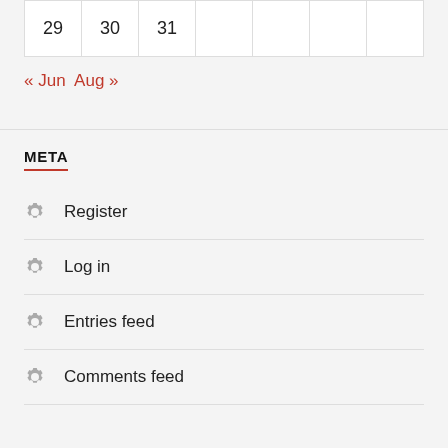| 29 | 30 | 31 |  |  |  |  |
« Jun  Aug »
META
Register
Log in
Entries feed
Comments feed